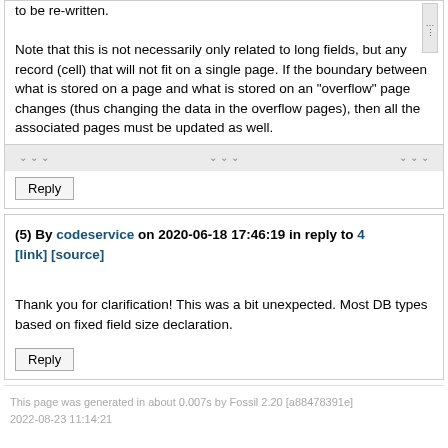to be re-written.

Note that this is not necessarily only related to long fields, but any record (cell) that will not fit on a single page. If the boundary between what is stored on a page and what is stored on an "overflow" page changes (thus changing the data in the overflow pages), then all the associated pages must be updated as well.
(5) By codeservice on 2020-06-18 17:46:19 in reply to 4 [link] [source]
Thank you for clarification! This was a bit unexpected. Most DB types based on fixed field size declaration.
This page was generated in about 0.007s by Fossil 2.20 [a88478391e] 2022-08-23 11:14:21